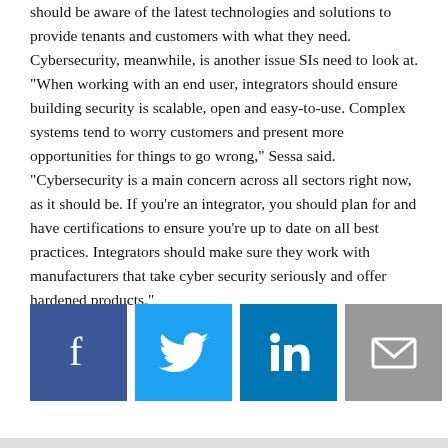Amid the latest building security trends, systems integrators should be aware of the latest technologies and solutions to provide tenants and customers with what they need. Cybersecurity, meanwhile, is another issue SIs need to look at. "When working with an end user, integrators should ensure building security is scalable, open and easy-to-use. Complex systems tend to worry customers and present more opportunities for things to go wrong," Sessa said. "Cybersecurity is a main concern across all sectors right now, as it should be. If you're an integrator, you should plan for and have certifications to ensure you're up to date on all best practices. Integrators should make sure they work with manufacturers that take cyber security seriously and offer hardened products."
[Figure (other): Social media sharing buttons: Facebook, Twitter, LinkedIn, Email]